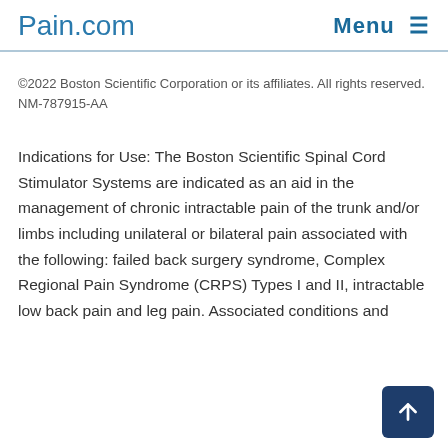Pain.com  Menu ≡
©2022 Boston Scientific Corporation or its affiliates. All rights reserved.
NM-787915-AA
Indications for Use: The Boston Scientific Spinal Cord Stimulator Systems are indicated as an aid in the management of chronic intractable pain of the trunk and/or limbs including unilateral or bilateral pain associated with the following: failed back surgery syndrome, Complex Regional Pain Syndrome (CRPS) Types I and II, intractable low back pain and leg pain. Associated conditions and